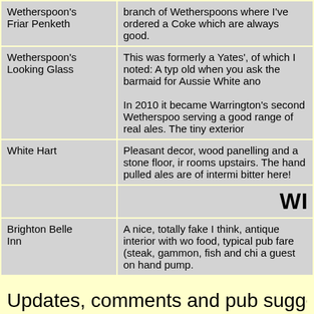| Pub Name | Description |
| --- | --- |
| Wetherspoon's Friar Penketh | branch of Wetherspoons where I've ordered a Coke which are always good. |
| Wetherspoon's Looking Glass | This was formerly a Yates', of which I noted: A typ old when you ask the barmaid for Aussie White and

In 2010 it became Warrington's second Wetherspot serving a good range of real ales. The tiny exterior |
| White Hart | Pleasant decor, wood panelling and a stone floor, ir rooms upstairs. The hand pulled ales are of intermi bitter here! |
|  | WI |
| Brighton Belle Inn | A nice, totally fake I think, antique interior with wo food, typical pub fare (steak, gammon, fish and chi a guest on hand pump. |
Updates, comments and pub suggestio
©2022 Phil Wieland
Elsewhere in th